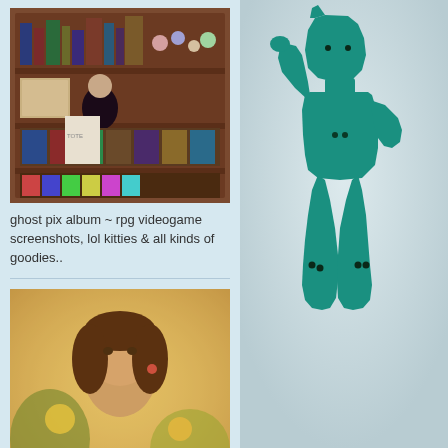[Figure (photo): Photo of a person standing in front of shelves filled with collectibles, games, and toys]
ghost pix album ~ rpg videogame screenshots, lol kitties & all kinds of goodies..
[Figure (photo): Vintage-style warm-toned photo of a woman with flowers]
toxic was here album ~ vintage socal birthdays & halloweens, etc..
~ copyright 2008 all rights reserved
[Figure (photo): Close-up photo of a teal green Gumby toy figure against a grey background]